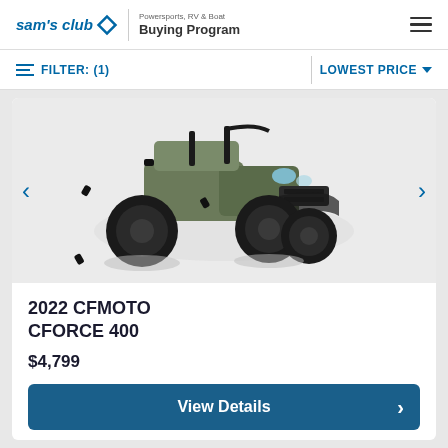sam's club | Powersports, RV & Boat Buying Program
FILTER: (1)   LOWEST PRICE
[Figure (photo): ATV/quad vehicle (2022 CFMOTO CFORCE 400) shown from front-lower angle, dark colored with large knobby tires on light background]
2022 CFMOTO CFORCE 400
$4,799
View Details